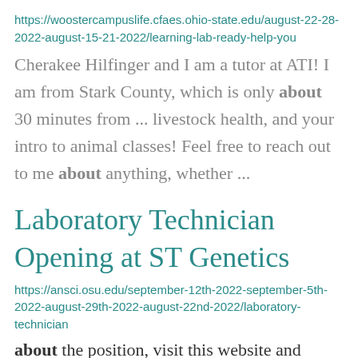https://woostercampuslife.cfaes.ohio-state.edu/august-22-28-2022-august-15-21-2022/learning-lab-ready-help-you
Cherakee Hilfinger  and I am a tutor at ATI! I am from Stark County, which is only about 30 minutes from ... livestock health, and your intro to animal classes! Feel free to reach out to me about anything, whether ...
Laboratory Technician Opening at ST Genetics
https://ansci.osu.edu/september-12th-2022-september-5th-2022-august-29th-2022-august-22nd-2022/laboratory-technician
about the position, visit this website and